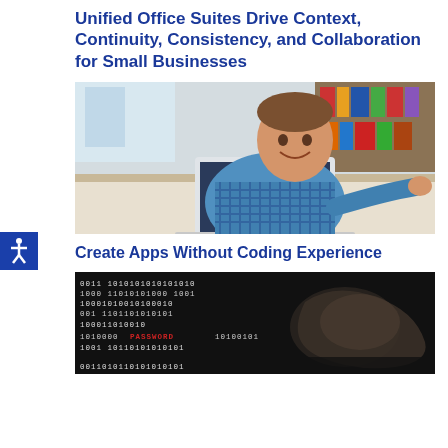Unified Office Suites Drive Context, Continuity, Consistency, and Collaboration for Small Businesses
[Figure (photo): Smiling man in a blue checked shirt working on a laptop in a brightly lit room with bookshelves in the background]
Create Apps Without Coding Experience
[Figure (photo): Close-up of a finger touching a screen displaying binary code (0s and 1s) with the word PASSWORD highlighted in red]